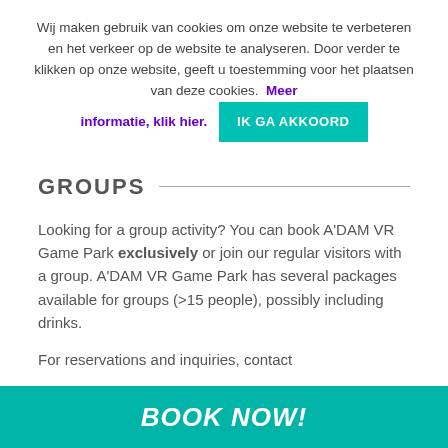Wij maken gebruik van cookies om onze website te verbeteren en het verkeer op de website te analyseren. Door verder te klikken op onze website, geeft u toestemming voor het plaatsen van deze cookies.  Meer informatie, klik hier.  IK GA AKKOORD
GROUPS
Looking for a group activity? You can book A'DAM VR Game Park exclusively or join our regular visitors with a group. A'DAM VR Game Park has several packages available for groups (>15 people), possibly including drinks.

For reservations and inquiries, contact
BOOK NOW!